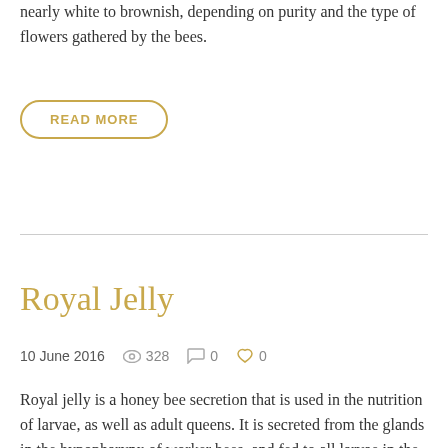nearly white to brownish, depending on purity and the type of flowers gathered by the bees.
READ MORE
Royal Jelly
10 June 2016   328   0   0
Royal jelly is a honey bee secretion that is used in the nutrition of larvae, as well as adult queens. It is secreted from the glands in the hypopharynx of worker bees, and fed to all larvae in the colony, regardless of